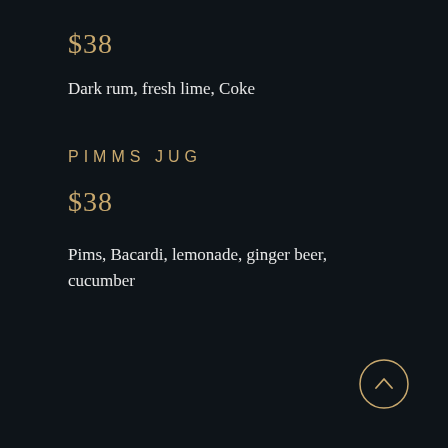$38
Dark rum, fresh lime, Coke
PIMMS JUG
$38
Pims, Bacardi, lemonade, ginger beer, cucumber